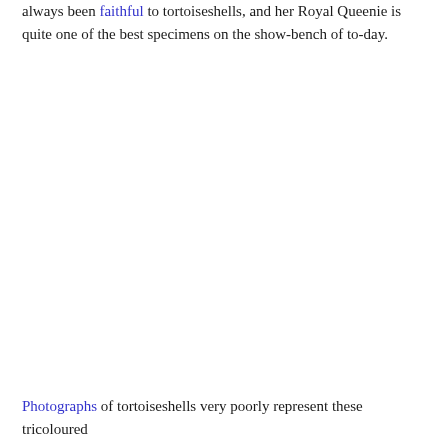always been faithful to tortoiseshells, and her Royal Queenie is quite one of the best specimens on the show-bench of to-day.
Photographs of tortoiseshells very poorly represent these tricoloured